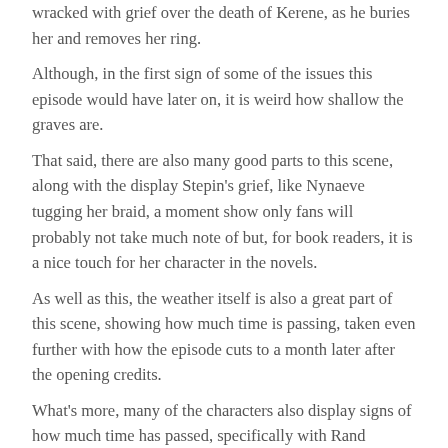wracked with grief over the death of Kerene, as he buries her and removes her ring. Although, in the first sign of some of the issues this episode would have later on, it is weird how shallow the graves are. That said, there are also many good parts to this scene, along with the display Stepin's grief, like Nynaeve tugging her braid, a moment show only fans will probably not take much note of but, for book readers, it is a nice touch for her character in the novels. As well as this, the weather itself is also a great part of this scene, showing how much time is passing, taken even further with how the episode cuts to a month later after the opening credits. What's more, many of the characters also display signs of how much time has passed, specifically with Rand